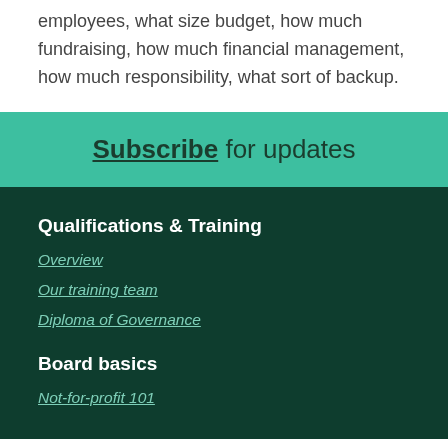employees, what size budget, how much fundraising, how much financial management, how much responsibility, what sort of backup.
Subscribe for updates
Qualifications & Training
Overview
Our training team
Diploma of Governance
Board basics
Not-for-profit 101